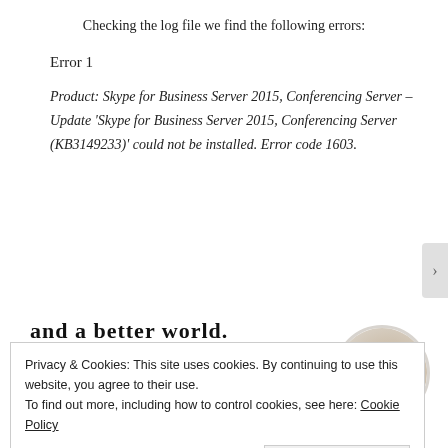Checking the log file we find the following errors:
Error 1
Product: Skype for Business Server 2015, Conferencing Server – Update 'Skype for Business Server 2015, Conferencing Server (KB3149233)' could not be installed. Error code 1603.
and a better world.
[Figure (illustration): Apply button (blue) and circular avatar photo of a man with beard]
Privacy & Cookies: This site uses cookies. By continuing to use this website, you agree to their use.
To find out more, including how to control cookies, see here: Cookie Policy
Close and accept
Advertisements